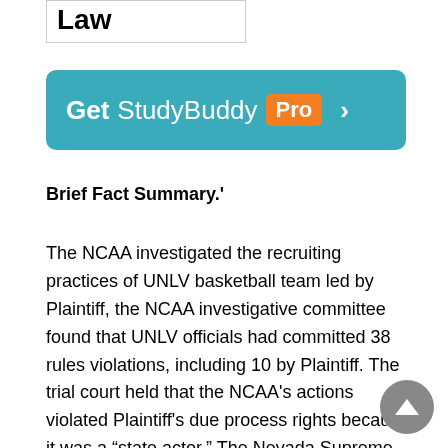Law
[Figure (other): Get StudyBuddy Pro banner button with teal background and orange Pro badge]
Brief Fact Summary.'
The NCAA investigated the recruiting practices of UNLV basketball team led by Plaintiff, the NCAA investigative committee found that UNLV officials had committed 38 rules violations, including 10 by Plaintiff. The trial court held that the NCAA's actions violated Plaintiff's due process rights because it was a “state actor.” The Nevada Supreme Court affirmed. NCAA petitioned the